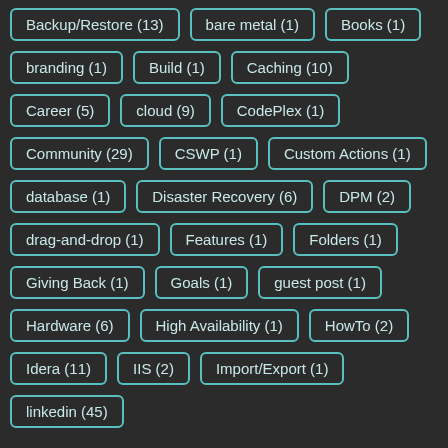Backup/Restore (13)
bare metal (1)
Books (1)
branding (1)
Build (1)
Caching (10)
Career (5)
cloud (9)
CodePlex (1)
Community (29)
CSWP (1)
Custom Actions (1)
database (1)
Disaster Recovery (6)
DPM (2)
drag-and-drop (1)
Features (1)
Folders (1)
Giving Back (1)
Goals (1)
guest post (1)
Hardware (6)
High Availability (1)
HowTo (2)
Idera (11)
IIS (2)
Import/Export (1)
linkedin (45)